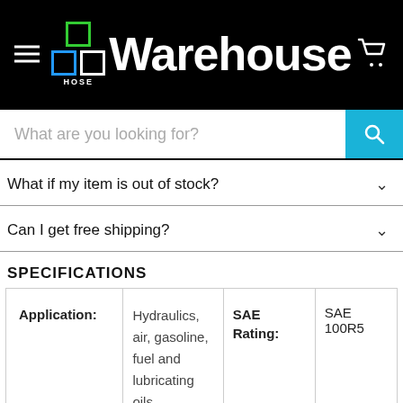[Figure (logo): Hose Warehouse logo with colored squares and white text on black background, hamburger menu icon on left, cart icon on right]
[Figure (screenshot): Search bar with placeholder text 'What are you looking for?' and cyan search button]
What if my item is out of stock?
Can I get free shipping?
SPECIFICATIONS
| Application: |  | SAE Rating: |  |
| --- | --- | --- | --- |
| Application: | Hydraulics, air, gasoline, fuel and lubricating oils. | SAE Rating: | SAE 100R5 |